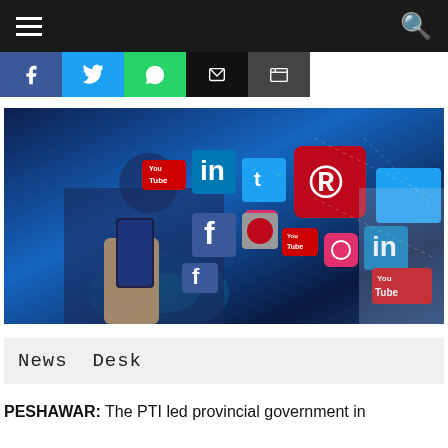Navigation bar with hamburger menu and search icon
[Figure (illustration): Social media share bar with Facebook, Twitter, WhatsApp, Messenger, and more buttons]
[Figure (photo): A person holding a smartphone with floating social media icons including LinkedIn, Twitter, YouTube, Instagram, Pinterest, and Facebook logos displayed in a digital collage]
News Desk
PESHAWAR: The PTI led provincial government in